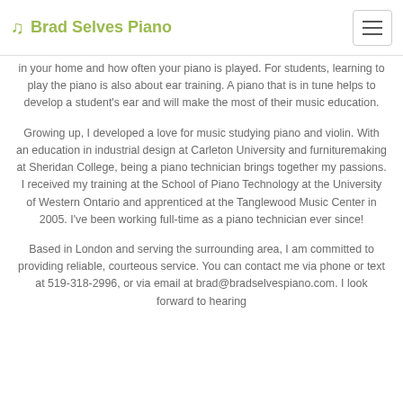Brad Selves Piano
in your home and how often your piano is played. For students, learning to play the piano is also about ear training. A piano that is in tune helps to develop a student's ear and will make the most of their music education.
Growing up, I developed a love for music studying piano and violin. With an education in industrial design at Carleton University and furnituremaking at Sheridan College, being a piano technician brings together my passions. I received my training at the School of Piano Technology at the University of Western Ontario and apprenticed at the Tanglewood Music Center in 2005. I've been working full-time as a piano technician ever since!
Based in London and serving the surrounding area, I am committed to providing reliable, courteous service. You can contact me via phone or text at 519-318-2996, or via email at brad@bradselvespiano.com. I look forward to hearing